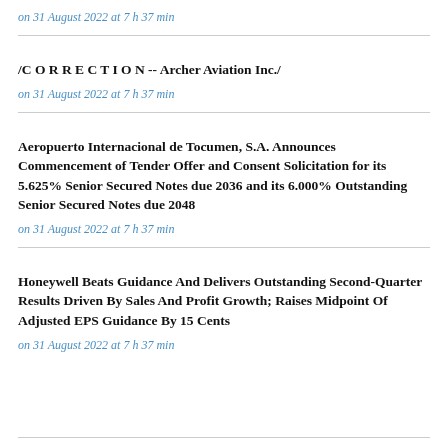on 31 August 2022 at 7 h 37 min
/C O R R E C T I O N -- Archer Aviation Inc./
on 31 August 2022 at 7 h 37 min
Aeropuerto Internacional de Tocumen, S.A. Announces Commencement of Tender Offer and Consent Solicitation for its 5.625% Senior Secured Notes due 2036 and its 6.000% Outstanding Senior Secured Notes due 2048
on 31 August 2022 at 7 h 37 min
Honeywell Beats Guidance And Delivers Outstanding Second-Quarter Results Driven By Sales And Profit Growth; Raises Midpoint Of Adjusted EPS Guidance By 15 Cents
on 31 August 2022 at 7 h 37 min